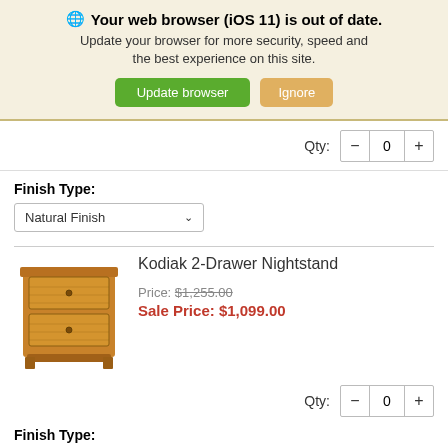Your web browser (iOS 11) is out of date. Update your browser for more security, speed and the best experience on this site.
Qty: - 0 +
Finish Type:
Natural Finish
[Figure (photo): Kodiak 2-Drawer Nightstand — wooden rustic nightstand with two drawers]
Kodiak 2-Drawer Nightstand
Price: $1,255.00
Sale Price: $1,099.00
Qty: - 0 +
Finish Type:
Natural Finish